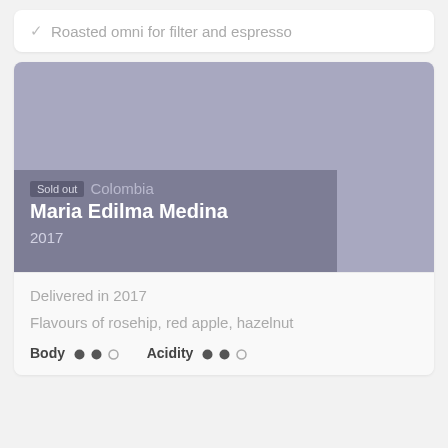Roasted omni for filter and espresso
[Figure (photo): Product card image with muted purple/grey background showing a sold-out coffee product from Colombia]
Sold out
Colombia
Maria Edilma Medina
2017
Delivered in 2017
Flavours of rosehip, red apple, hazelnut
Body ●● ○   Acidity ●● ○